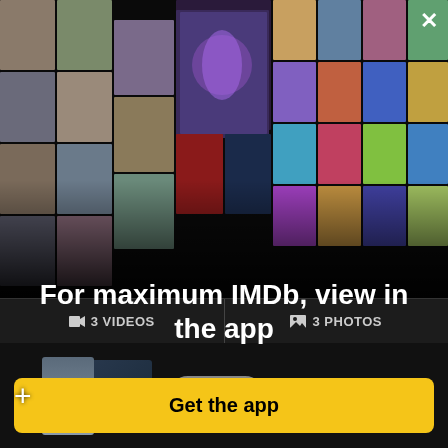[Figure (photo): IMDb app promotional collage showing a grid of celebrity photos and movie/TV show poster thumbnails arranged in a perspective vanishing point layout on a black background]
For maximum IMDb, view in the app
Get the app
3 VIDEOS
3 PHOTOS
[Figure (photo): Small thumbnail image of movie poster]
Thriller